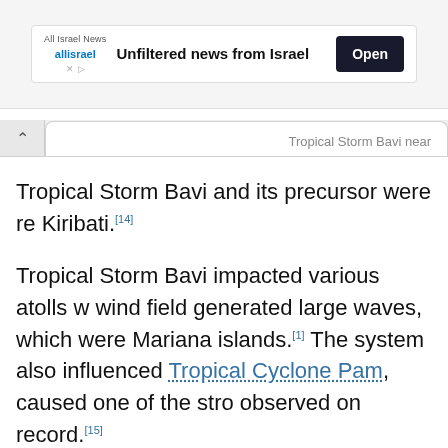[Figure (screenshot): Advertisement banner for All Israel News: 'Unfiltered news from Israel' with Open button]
Tropical Storm Bavi near
Tropical Storm Bavi and its precursor were re Kiribati.[14]
Tropical Storm Bavi impacted various atolls w wind field generated large waves, which were Mariana islands.[1] The system also influenced Tropical Cyclone Pam, caused one of the stro observed on record.[15]